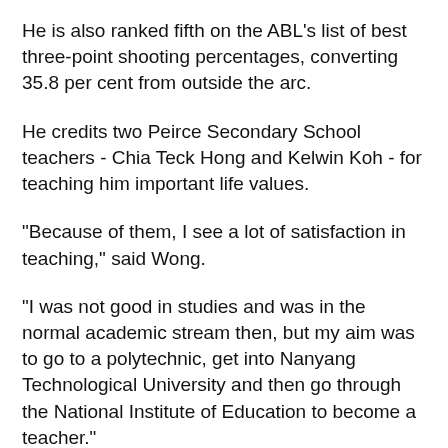He is also ranked fifth on the ABL's list of best three-point shooting percentages, converting 35.8 per cent from outside the arc.
He credits two Peirce Secondary School teachers - Chia Teck Hong and Kelwin Koh - for teaching him important life values.
"Because of them, I see a lot of satisfaction in teaching," said Wong.
"I was not good in studies and was in the normal academic stream then, but my aim was to go to a polytechnic, get into Nanyang Technological University and then go through the National Institute of Education to become a teacher."
While he successfully graduated from NTU with an